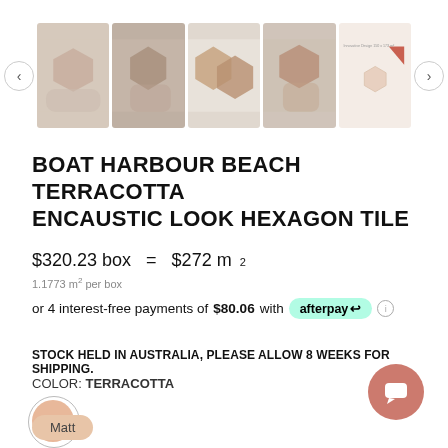[Figure (photo): Product image strip showing hexagon terracotta tiles in 5 thumbnail panels with left/right navigation arrows]
BOAT HARBOUR BEACH TERRACOTTA ENCAUSTIC LOOK HEXAGON TILE
$320.23 box  =  $272 m²
1.1773 m² per box
or 4 interest-free payments of $80.06 with afterpay ℹ
STOCK HELD IN AUSTRALIA, PLEASE ALLOW 8 WEEKS FOR SHIPPING.
COLOR: TERRACOTTA
[Figure (illustration): Terracotta color swatch circle (peach/tan color)]
FINISH: MATT
Matt